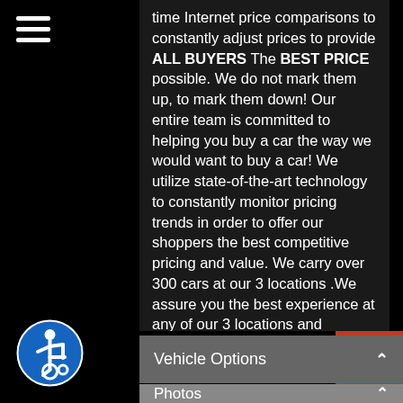[Figure (other): Hamburger/menu icon (three horizontal white lines) in top-left sidebar]
time Internet price comparisons to constantly adjust prices to provide ALL BUYERS The BEST PRICE possible. We do not mark them up, to mark them down! Our entire team is committed to helping you buy a car the way we would want to buy a car! We utilize state-of-the-art technology to constantly monitor pricing trends in order to offer our shoppers the best competitive pricing and value. We carry over 300 cars at our 3 locations .We assure you the best experience at any of our 3 locations and unbeatable prices and quality. Call us today! 1-317-896-4488
[Figure (other): Red back-to-top button with upward-pointing chevron arrow]
[Figure (other): Accessibility icon — blue circle with white wheelchair user symbol]
Vehicle Options
Photos